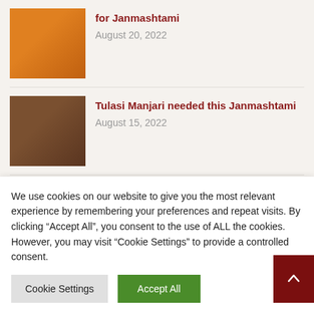[Figure (photo): Photo of person in orange robes with flowers, partially cropped at top]
for Janmashtami
August 20, 2022
[Figure (photo): Photo of Tulasi plant / Manjari close-up]
Tulasi Manjari needed this Janmashtami
August 15, 2022
[Figure (photo): Photo of three people with sunglasses standing outdoors]
The Matrix (Maya-Tricks!)
July 18, 2022
We use cookies on our website to give you the most relevant experience by remembering your preferences and repeat visits. By clicking “Accept All”, you consent to the use of ALL the cookies. However, you may visit “Cookie Settings” to provide a controlled consent.
Cookie Settings
Accept All